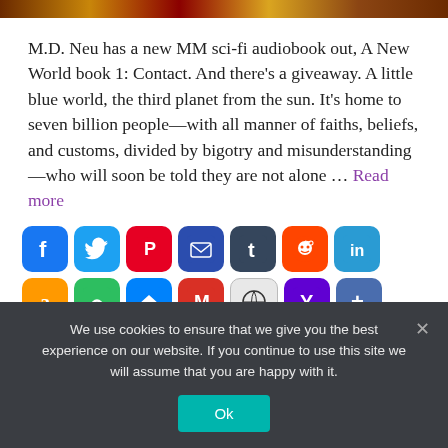[Figure (photo): Decorative banner image with warm golden/brown tones at the top of the page]
M.D. Neu has a new MM sci-fi audiobook out, A New World book 1: Contact. And there's a giveaway. A little blue world, the third planet from the sun. It's home to seven billion people—with all manner of faiths, beliefs, and customs, divided by bigotry and misunderstanding—who will soon be told they are not alone … Read more
[Figure (infographic): Row of social media sharing buttons: Facebook, Twitter, Pinterest, Email, Tumblr, Reddit, LinkedIn, Amazon, Evernote, Messenger, Gmail, WordPress, Yahoo, Share More]
We use cookies to ensure that we give you the best experience on our website. If you continue to use this site we will assume that you are happy with it.